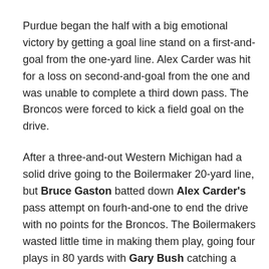Purdue began the half with a big emotional victory by getting a goal line stand on a first-and-goal from the one-yard line. Alex Carder was hit for a loss on second-and-goal from the one and was unable to complete a third down pass. The Broncos were forced to kick a field goal on the drive.
After a three-and-out Western Michigan had a solid drive going to the Boilermaker 20-yard line, but Bruce Gaston batted down Alex Carder's pass attempt on fourh-and-one to end the drive with no points for the Broncos. The Boilermakers wasted little time in making them play, going four plays in 80 yards with Gary Bush catching a screen pass and taking it 33 yards for a